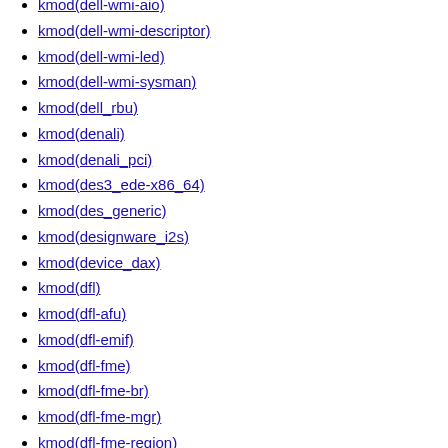kmod(dell-wmi-aio)
kmod(dell-wmi-descriptor)
kmod(dell-wmi-led)
kmod(dell-wmi-sysman)
kmod(dell_rbu)
kmod(denali)
kmod(denali_pci)
kmod(des3_ede-x86_64)
kmod(des_generic)
kmod(designware_i2s)
kmod(device_dax)
kmod(dfl)
kmod(dfl-afu)
kmod(dfl-emif)
kmod(dfl-fme)
kmod(dfl-fme-br)
kmod(dfl-fme-mgr)
kmod(dfl-fme-region)
kmod(dfl-n3000-nios)
kmod(dfl-pci)
kmod(dh_generic)
kmod(dht11)
kmod(diag)
kmod(dib0070)
kmod(dib0090)